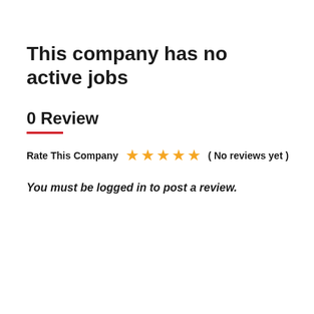This company has no active jobs
0 Review
Rate This Company ★★★★★ ( No reviews yet )
You must be logged in to post a review.